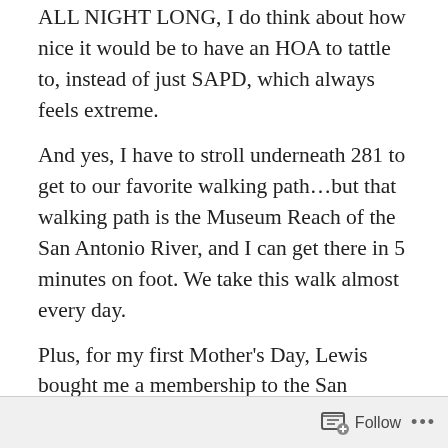ALL NIGHT LONG, I do think about how nice it would be to have an HOA to tattle to, instead of just SAPD, which always feels extreme.
And yes, I have to stroll underneath 281 to get to our favorite walking path…but that walking path is the Museum Reach of the San Antonio River, and I can get there in 5 minutes on foot. We take this walk almost every day.
Plus, for my first Mother's Day, Lewis bought me a membership to the San Antonio Museum of Art, where Moira and I can stroll and take in all the air-conditioning and art we want.
Along the way we have epic adventures passing animals, vagrants, fancy parties, kickball games, and running into
Follow